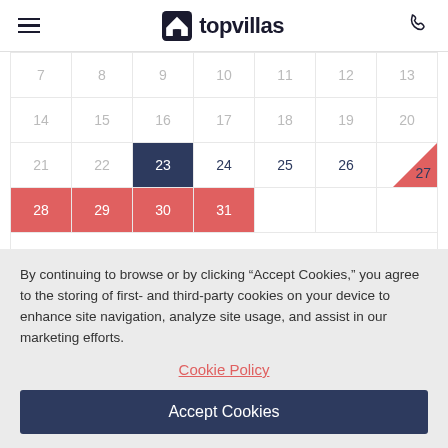topvillas
[Figure (other): A booking calendar showing dates 7-31. Dates 23 is highlighted in navy blue. Dates 27 shows a red triangle corner. Dates 28, 29, 30, 31 are highlighted in red/coral. Dates 24, 25, 26 are shown in dark navy text. Other dates (7-22) are shown in light gray.]
By continuing to browse or by clicking “Accept Cookies,” you agree to the storing of first- and third-party cookies on your device to enhance site navigation, analyze site usage, and assist in our marketing efforts.
Cookie Policy
Accept Cookies